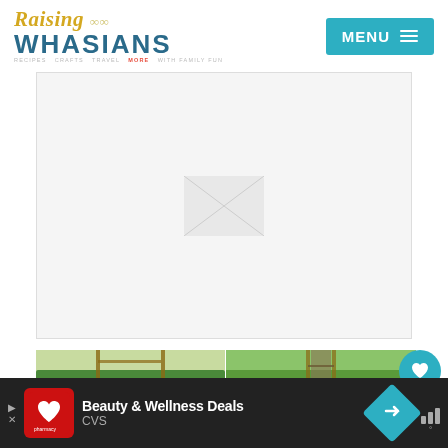[Figure (logo): Raising Whasians blog logo with yellow script 'Raising' and teal bold 'WHASIANS' text, subtitle: RECIPES CRAFTS TRAVEL MORE WITH FAMILY FUN]
[Figure (screenshot): MENU button with hamburger icon on teal background, top right of header]
[Figure (photo): Advertisement banner placeholder area]
[Figure (photo): Three photos of a woman on a wooden suspension bridge surrounded by tropical greenery; left photo shows woman posing on bridge, top-right shows bridge from above, bottom-right shows woman near water on bridge]
[Figure (infographic): Heart/save icon with 652 count and share icon on right side]
[Figure (screenshot): CVS Pharmacy advertisement banner at bottom: 'Beauty & Wellness Deals' with CVS logo, teal navigation arrow, and additional icon]